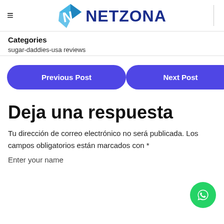≡ NETZONA
Categories
sugar-daddies-usa reviews
Previous Post
Next Post
Deja una respuesta
Tu dirección de correo electrónico no será publicada. Los campos obligatorios están marcados con *
Enter your name